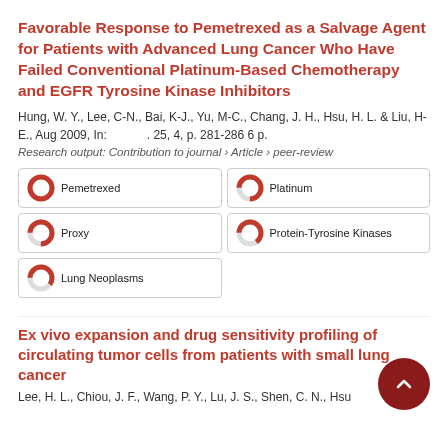Favorable Response to Pemetrexed as a Salvage Agent for Patients with Advanced Lung Cancer Who Have Failed Conventional Platinum-Based Chemotherapy and EGFR Tyrosine Kinase Inhibitors
Hung, W. Y., Lee, C-N., Bai, K-J., Yu, M-C., Chang, J. H., Hsu, H. L. & Liu, H-E., Aug 2009, In: . 25, 4, p. 281-286 6 p.
Research output: Contribution to journal › Article › peer-review
[Figure (infographic): Keyword badges with donut/pie icons: Pemetrexed (100%), Platinum (~75%), Proxy (~75%), Protein-Tyrosine Kinases (~65%), Lung Neoplasms (~60%)]
Ex vivo expansion and drug sensitivity profiling of circulating tumor cells from patients with small lung cancer
Lee, H. L., Chiou, J. F., Wang, P. Y., Lu, J. S., Shen, C. N., Hsu